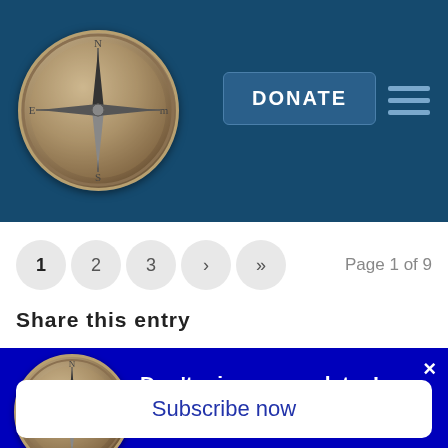[Figure (logo): Compass logo in header navigation bar]
DONATE
[Figure (other): Pagination: 1, 2, 3, >, >> with Page 1 of 9]
Page 1 of 9
Share this entry
[Figure (logo): Compass logo in popup banner]
Don't miss our updates!
Subscribe now